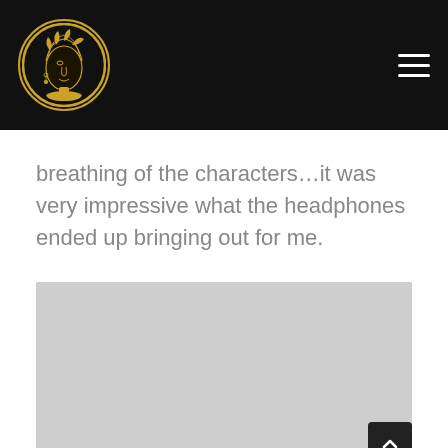[Figure (logo): Circular logo with gold border featuring an illustrated woman's face with decorative headwear, on a black background header with hamburger menu icon]
breathing of the characters…it was very impressive what the headphones ended up bringing out for me.
[Figure (photo): Light gray placeholder image block with a scroll-to-top button (dark square with up caret) in the bottom right corner]